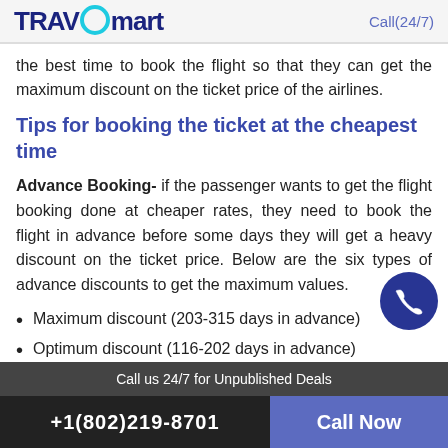TRAVOmart   Call(24/7)
the best time to book the flight so that they can get the maximum discount on the ticket price of the airlines.
Tips for booking the ticket at the cheapest time
Advance Booking- if the passenger wants to get the flight booking done at cheaper rates, they need to book the flight in advance before some days they will get a heavy discount on the ticket price. Below are the six types of advance discounts to get the maximum values.
Maximum discount (203-315 days in advance)
Optimum discount (116-202 days in advance)
Limited discount (21-115 days in advance)
Call us 24/7 for Unpublished Deals
+1(802)219-8701   Call Now